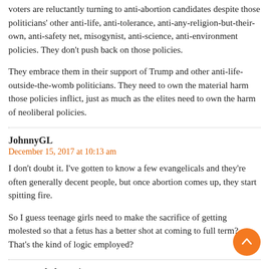voters are reluctantly turning to anti-abortion candidates despite those politicians' other anti-life, anti-tolerance, anti-any-religion-but-their-own, anti-safety net, misogynist, anti-science, anti-environment policies. They don't push back on those policies.
They embrace them in their support of Trump and other anti-life-outside-the-womb politicians. They need to own the material harm those policies inflict, just as much as the elites need to own the harm of neoliberal policies.
JohnnyGL
December 15, 2017 at 10:13 am
I don't doubt it. I've gotten to know a few evangelicals and they're often generally decent people, but once abortion comes up, they start spitting fire.
So I guess teenage girls need to make the sacrifice of getting molested so that a fetus has a better shot at coming to full term? That's the kind of logic employed?
Wukchumni